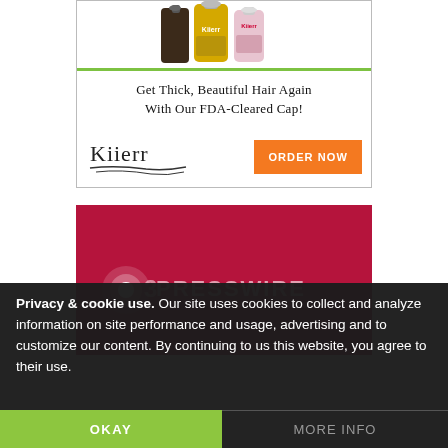[Figure (illustration): Kiierr product bottles (supplement and hair care products) displayed above a green horizontal line inside an advertisement box]
Get Thick, Beautiful Hair Again With Our FDA-Cleared Cap!
[Figure (logo): Kiierr brand logo with stylized underline strokes]
[Figure (screenshot): Orange ORDER NOW button]
[Figure (logo): EIN Presswire logo on dark red/crimson background]
Privacy & cookie use. Our site uses cookies to collect and analyze information on site performance and usage, advertising and to customize our content. By continuing to us this website, you agree to their use.
OKAY
MORE INFO